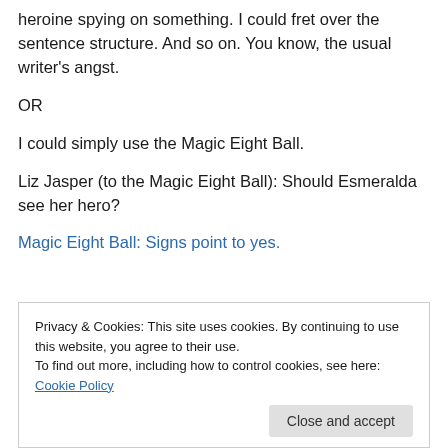heroine spying on something. I could fret over the sentence structure. And so on. You know, the usual writer’s angst.
OR
I could simply use the Magic Eight Ball.
Liz Jasper (to the Magic Eight Ball): Should Esmeralda see her hero?
Magic Eight Ball: Signs point to yes.
Privacy & Cookies: This site uses cookies. By continuing to use this website, you agree to their use. To find out more, including how to control cookies, see here: Cookie Policy